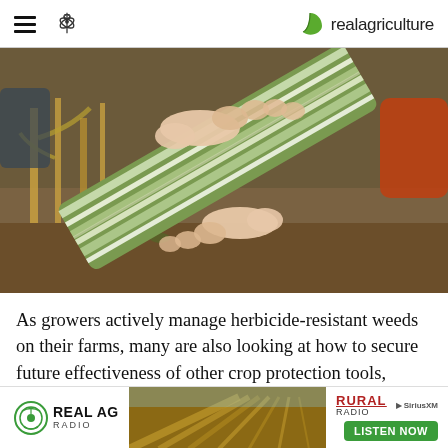realagriculture
[Figure (photo): Hands holding a corn leaf with striped green and white discoloration, likely showing herbicide or nutrient-related damage, with corn stalks and field visible in background.]
As growers actively manage herbicide-resistant weeds on their farms, many are also looking at how to secure future effectiveness of other crop protection tools, including fungicides and insecticides. In this first episode of a new season of
[Figure (infographic): Advertisement banner for Real AG Radio featuring a farm field photo, Rural Radio and SiriusXM logos, and a green 'LISTEN NOW' button.]